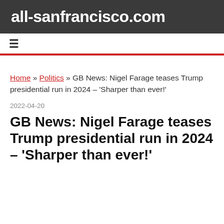all-sanfrancisco.com
≡
Home » Politics » GB News: Nigel Farage teases Trump presidential run in 2024 – 'Sharper than ever!'
2022-04-20
GB News: Nigel Farage teases Trump presidential run in 2024 – 'Sharper than ever!'